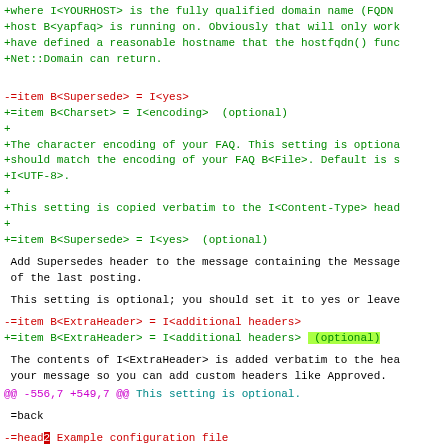+where I<YOURHOST> is the fully qualified domain name (FQDN
+host B<yapfaq> is running on. Obviously that will only work
+have defined a reasonable hostname that the hostfqdn() func
+Net::Domain can return.
-=item B<Supersede> = I<yes>
+=item B<Charset> = I<encoding>  (optional)
+
+The character encoding of your FAQ. This setting is optiona
+should match the encoding of your FAQ B<File>. Default is s
+I<UTF-8>.
+
+This setting is copied verbatim to the I<Content-Type> head
+
+=item B<Supersede> = I<yes>  (optional)
Add Supersedes header to the message containing the Message
 of the last posting.
This setting is optional; you should set it to yes or leave
-=item B<ExtraHeader> = I<additional headers>
+=item B<ExtraHeader> = I<additional headers>  (optional)
The contents of I<ExtraHeader> is added verbatim to the hea
 your message so you can add custom headers like Approved.
@@ -556,7 +549,7 @@ This setting is optional.
=back
-=head2 Example configuration file
+=head3 Example configuration file